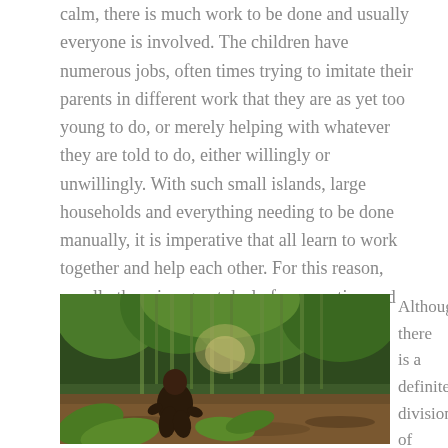calm, there is much work to be done and usually everyone is involved. The children have numerous jobs, often times trying to imitate their parents in different work that they are as yet too young to do, or merely helping with whatever they are told to do, either willingly or unwillingly. With such small islands, large households and everything needing to be done manually, it is imperative that all learn to work together and help each other. For this reason, usually there is a great deal of cooperation and responsibility taken by everyone except the youngest children.
[Figure (photo): A man crouching among dense tropical green vegetation and large-leafed plants in what appears to be a jungle or forest clearing]
Although there is a definite division of labor